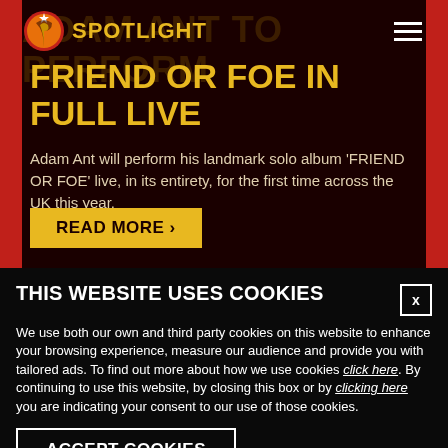[Figure (logo): Spotlight logo with circular orange/red icon and star, with SPOTLIGHT text in gold]
FRIEND OR FOE IN FULL LIVE
Adam Ant will perform his landmark solo album 'FRIEND OR FOE' live, in its entirety, for the first time across the UK this year.
READ MORE >
THIS WEBSITE USES COOKIES
We use both our own and third party cookies on this website to enhance your browsing experience, measure our audience and provide you with tailored ads. To find out more about how we use cookies click here. By continuing to use this website, by closing this box or by clicking here you are indicating your consent to our use of those cookies.
ACCEPT COOKIES